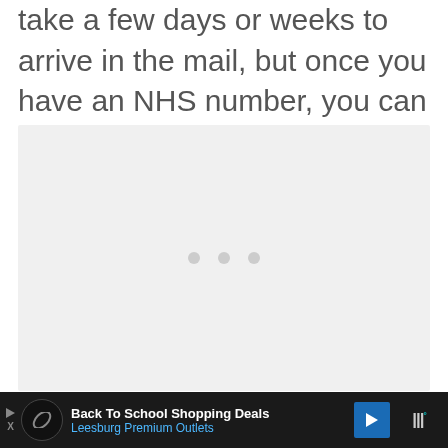take a few days or weeks to arrive in the mail, but once you have an NHS number, you can start using the UK's healthcare services.
[Figure (other): Loading placeholder image area with three gray dots centered, indicating content is loading]
Back To School Shopping Deals Leesburg Premium Outlets